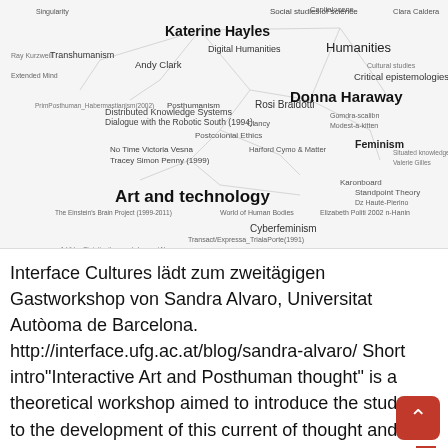[Figure (network-graph): A network/concept map showing interconnected terms related to posthumanism, feminism, art and technology, cyberculture, and related thinkers/concepts. Key nodes include: Katerine Hayles, Donna Haraway, Art and technology, Transhumanism, Andy Clark, Posthumanism, Rosi Braidotti, Feminism, Cyberminism, Distributed Knowledge Systems, Social studies of science, Critical epistemologies, No Time, Victoria Vesna, Tracey Simon Penny (1999), and many more smaller labels.]
Interface Cultures lädt zum zweitägigen Gastworkshop von Sandra Alvaro, Universitat Autòoma de Barcelona. http://interface.ufg.ac.at/blog/sandra-alvaro/ Short intro"Interactive Art and Posthuman thought" is a theoretical workshop aimed to introduce the students to the development of this current of thought and the entanglements between art science, computation and politics that accompanied its evolution.The workshop